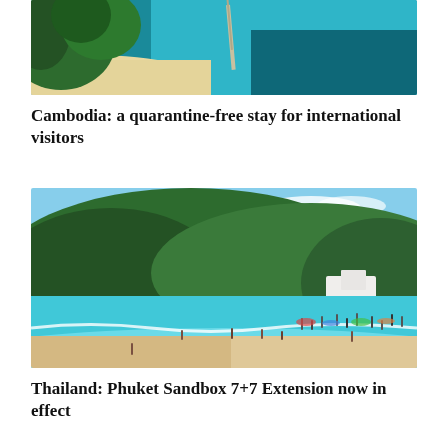[Figure (photo): Aerial view of a tropical beach with turquoise water, white sand, and lush green trees, with a pier extending into the sea.]
Cambodia: a quarantine-free stay for international visitors
[Figure (photo): Beach scene in Phuket Thailand with turquoise water, green forested hills in the background, and tourists on the sandy beach.]
Thailand: Phuket Sandbox 7+7 Extension now in effect